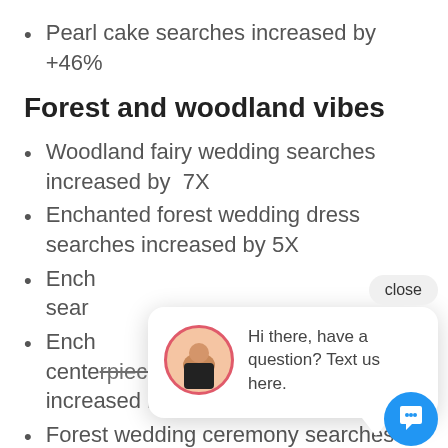Pearl cake searches increased by +46%
Forest and woodland vibes
Woodland fairy wedding searches increased by 7X
Enchanted forest wedding dress searches increased by 5X
Enchanted forest wedding searches
Enchanted forest wedding centerpieces searches increased by 3X
Forest wedding ceremony searches increased by 2X